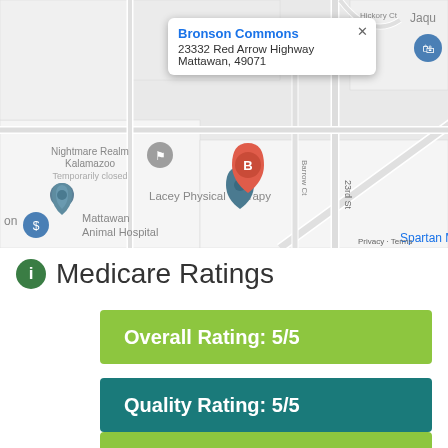[Figure (map): Google Maps screenshot showing Bronson Commons location at 23332 Red Arrow Highway, Mattawan 49071. Nearby landmarks: Nightmare Realm Kalamazoo (Temporarily closed), Lacey Physical Therapy, Mattawan Animal Hospital, Spartan M. Red pin labeled B marks Bronson Commons.]
Medicare Ratings
Overall Rating: 5/5
Quality Rating: 5/5